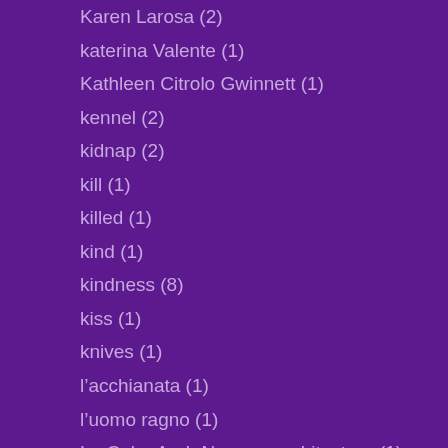Karen Larosa (2)
katerina Valente (1)
Kathleen Citrolo Gwinnett (1)
kennel (2)
kidnap (2)
kill (1)
killed (1)
kind (1)
kindness (8)
kiss (1)
knives (1)
l'acchianata (1)
l'uomo ragno (1)
La Cuba Arab Norman architecture (1)
La Danza delle Ombre (1)
la favorita (1)
la guilla (1)
La Palermo Dei Misteri (1)
la scuola adotta la citta` (1)